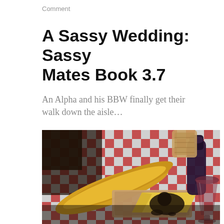Comment
A Sassy Wedding: Sassy Mates Book 3.7
An Alpha and his BBW finally get their walk down the aisle…
[Figure (photo): A rendered/illustrated image of a table set with a red-and-white checkered tablecloth, featuring a baguette, a wedge of yellow cheese on a wooden cutting board, a dark wine bottle, and a glass of red wine.]